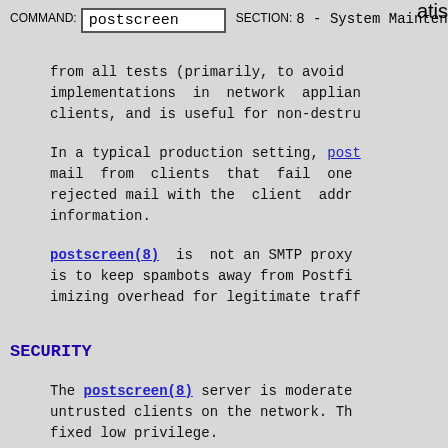COMMAND: postscreen    SECTION: 8 - System Maintenance Commands    atis
from all tests (primarily, to avoid implementations in network appliances, clients, and is useful for non-destructive
In a typical production setting, postscreen(8) mail from clients that fail one or more tests, rejected mail with the client address and information.
postscreen(8) is not an SMTP proxy; its purpose is to keep spambots away from Postfix, while minimizing overhead for legitimate traffic.
SECURITY
The postscreen(8) server is moderately exposed to untrusted clients on the network. The server runs at fixed low privilege.
STANDARDS